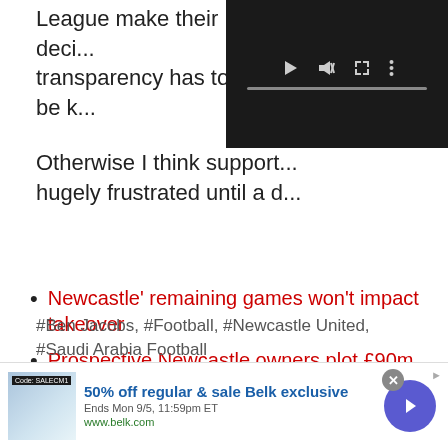League make their deci... transparency has to be k...
[Figure (screenshot): Video player overlay with dark background, play button, mute icon, fullscreen icon, and a progress bar at the bottom]
Otherwise I think support... hugely frustrated until a d...
Newcastle’ remaining games won’t impact takeover
Prospective Newcastle owners plot £90m landmark deal
Newcastle United close in on Danny Rose
#Ben Jacobs, #Football, #Newcastle United, #Saudi Arabia Football
[Figure (screenshot): Advertisement banner: Belk 50% off regular & sale exclusive, Ends Mon 9/5 11:59pm ET, www.belk.com, with product image and arrow button]